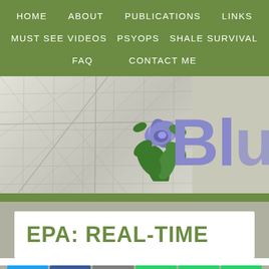HOME   ABOUT   PUBLICATIONS   LINKS   MUST SEE VIDEOS   PSYOPS   SHALE SURVIVAL   FAQ   CONTACT ME
[Figure (illustration): Website banner with a faded map background, a blue/purple flower, and partial text 'Blu' in purple large font]
EPA: REAL-TIME
[Figure (infographic): Social sharing buttons row: Twitter (blue bird), Facebook (f), Email (envelope), WhatsApp (phone), SMS, and another share icon]